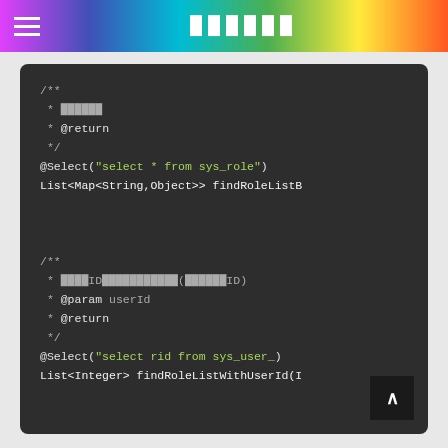☰  ██████
[Figure (screenshot): Code editor screenshot showing Java/MyBatis mapper interface code with two method stubs. First method: findRoleListBy (all roles) with @Select annotation. Second method: findRoleListWithUserId with @Select annotation querying sys_user_ table by rid, with JSDoc comments in Chinese/Japanese characters.]